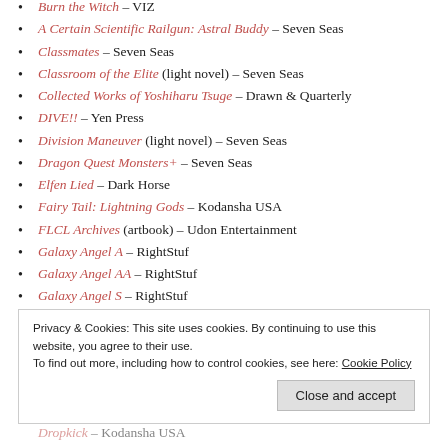Burn the Witch – VIZ
A Certain Scientific Railgun: Astral Buddy – Seven Seas
Classmates – Seven Seas
Classroom of the Elite (light novel) – Seven Seas
Collected Works of Yoshiharu Tsuge – Drawn & Quarterly
DIVE!! – Yen Press
Division Maneuver (light novel) – Seven Seas
Dragon Quest Monsters+ – Seven Seas
Elfen Lied – Dark Horse
Fairy Tail: Lightning Gods – Kodansha USA
FLCL Archives (artbook) – Udon Entertainment
Galaxy Angel A – RightStuf
Galaxy Angel AA – RightStuf
Galaxy Angel S – RightStuf
Privacy & Cookies: This site uses cookies. By continuing to use this website, you agree to their use. To find out more, including how to control cookies, see here: Cookie Policy
Dropkick – Kodansha USA